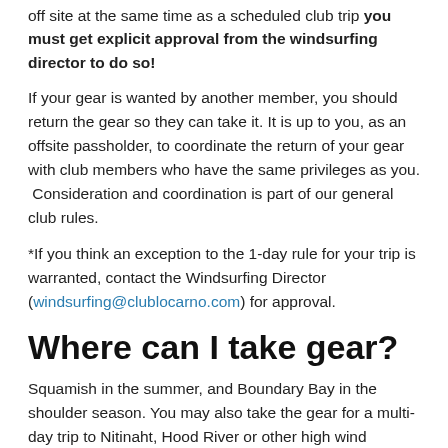off site at the same time as a scheduled club trip you must get explicit approval from the windsurfing director to do so!
If your gear is wanted by another member, you should return the gear so they can take it. It is up to you, as an offsite passholder, to coordinate the return of your gear with club members who have the same privileges as you. Consideration and coordination is part of our general club rules.
*If you think an exception to the 1-day rule for your trip is warranted, contact the Windsurfing Director (windsurfing@clublocarno.com) for approval.
Where can I take gear?
Squamish in the summer, and Boundary Bay in the shoulder season. You may also take the gear for a multi-day trip to Nitinaht, Hood River or other high wind destination with the advance approval of the Windsurfing Director.